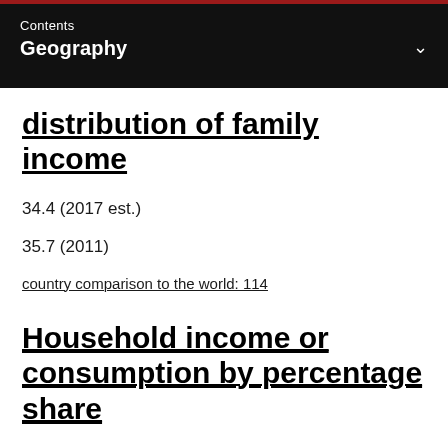Contents
Geography
distribution of family income
34.4 (2017 est.)
35.7 (2011)
country comparison to the world: 114
Household income or consumption by percentage share